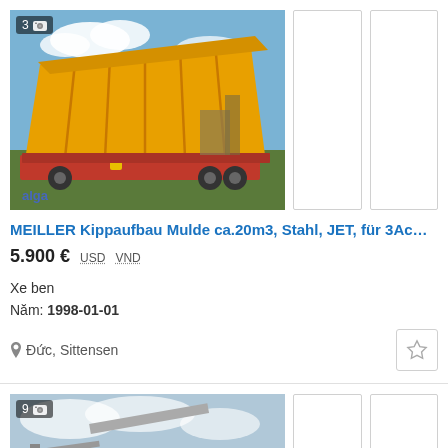[Figure (photo): Yellow MEILLER dump truck body (Kippaufbau) on red chassis, tilted upward, with 'alga' watermark in lower left. Photo badge shows '3' and camera icon.]
MEILLER Kippaufbau Mulde ca.20m3, Stahl, JET, für 3Ac…
5.900 € USD VND
Xe ben
Năm: 1998-01-01
Đức, Sittensen
[Figure (photo): Second listing photo partially visible at bottom — construction machinery/trailer with a lifted platform or ramp, photo badge shows '9' and camera icon.]